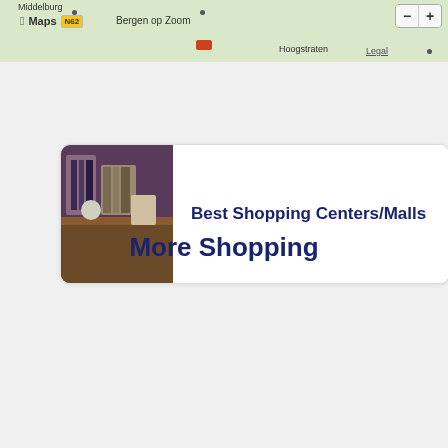[Figure (screenshot): Apple Maps screenshot showing Bergen op Zoom and Hoogstraten area with zoom controls and Legal link]
[Figure (photo): Card with interior shop photo on left and text 'Best Shopping Centers/Malls' on right]
More Shopping
[Figure (photo): Photo of rows of yellow rubber ducks with red beaks on shelves]